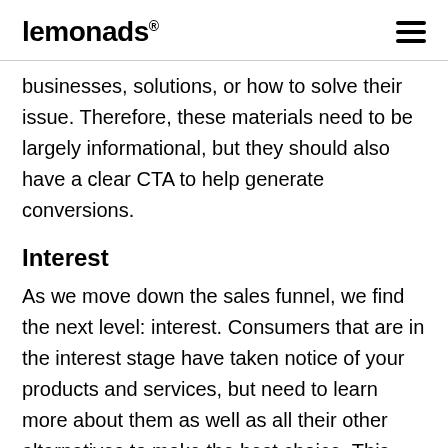lemonads®
businesses, solutions, or how to solve their issue. Therefore, these materials need to be largely informational, but they should also have a clear CTA to help generate conversions.
Interest
As we move down the sales funnel, we find the next level: interest. Consumers that are in the interest stage have taken notice of your products and services, but need to learn more about them as well as all their other alternatives to make the best choice. This content should be